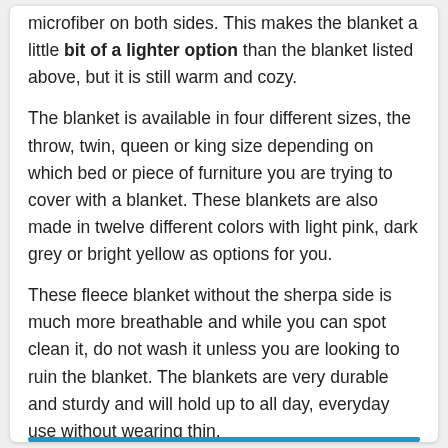microfiber on both sides. This makes the blanket a little bit of a lighter option than the blanket listed above, but it is still warm and cozy.
The blanket is available in four different sizes, the throw, twin, queen or king size depending on which bed or piece of furniture you are trying to cover with a blanket. These blankets are also made in twelve different colors with light pink, dark grey or bright yellow as options for you.
These fleece blanket without the sherpa side is much more breathable and while you can spot clean it, do not wash it unless you are looking to ruin the blanket. The blankets are very durable and sturdy and will hold up to all day, everyday use without wearing thin.